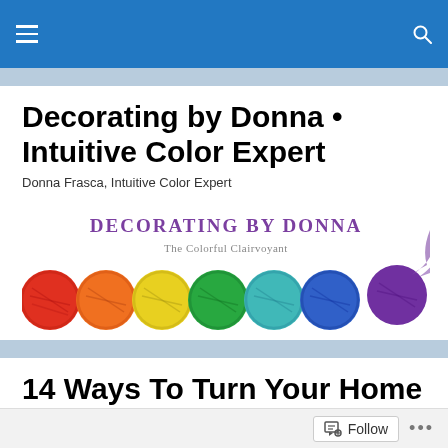Decorating by Donna • Intuitive Color Expert — navigation header bar
Decorating by Donna • Intuitive Color Expert
Donna Frasca, Intuitive Color Expert
[Figure (illustration): Decorating By Donna banner with rainbow-colored spheres (red, orange, yellow, green, teal, blue, purple) arranged in a row against a white background. Text reads 'DECORATING BY DONNA' and 'The Colorful Clairvoyant'.]
14 Ways To Turn Your Home Into A House of Healing
Follow